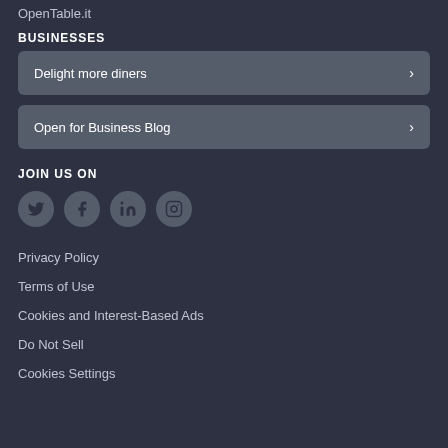OpenTable.it
BUSINESSES
Delight more diners
Open for Business Blog
JOIN US ON
[Figure (infographic): Social media icons: Twitter, Facebook, LinkedIn, Instagram]
Privacy Policy
Terms of Use
Cookies and Interest-Based Ads
Do Not Sell
Cookies Settings